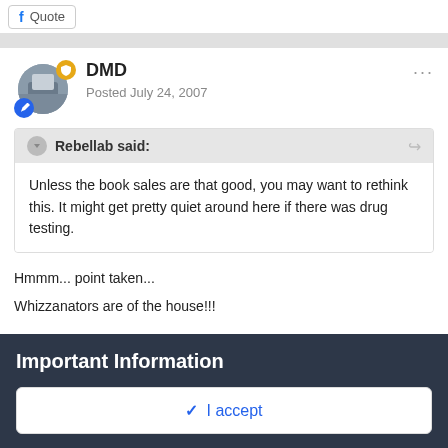Quote
DMD
Posted July 24, 2007
Rebellab said:
Unless the book sales are that good, you may want to rethink this. It might get pretty quiet around here if there was drug testing.
Hmmm... point taken...
Whizzanators are of the house!!!
Important Information
✓ I accept